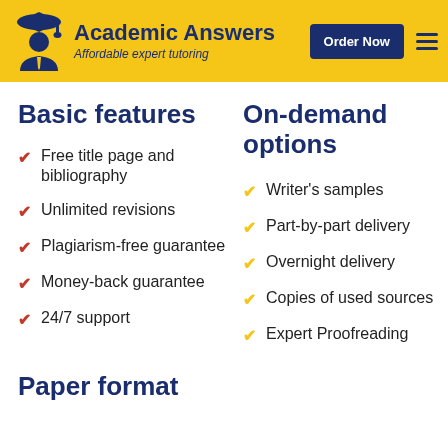Academic Answers — Affordable expert tutoring — Order Now
Basic features
Free title page and bibliography
Unlimited revisions
Plagiarism-free guarantee
Money-back guarantee
24/7 support
On-demand options
Writer's samples
Part-by-part delivery
Overnight delivery
Copies of used sources
Expert Proofreading
Paper format